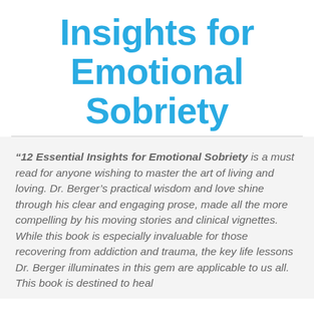Insights for Emotional Sobriety
“12 Essential Insights for Emotional Sobriety is a must read for anyone wishing to master the art of living and loving. Dr. Berger’s practical wisdom and love shine through his clear and engaging prose, made all the more compelling by his moving stories and clinical vignettes. While this book is especially invaluable for those recovering from addiction and trauma, the key life lessons Dr. Berger illuminates in this gem are applicable to us all. This book is destined to heal